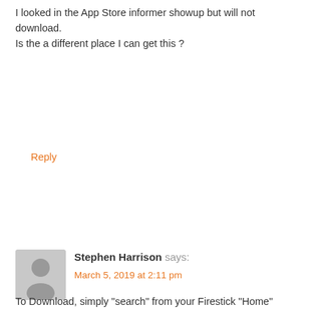I looked in the App Store informer showup but will not download. Is the a different place I can get this ?
Reply
Stephen Harrison says:
March 5, 2019 at 2:11 pm
To Download, simply "search" from your Firestick "Home" screen.